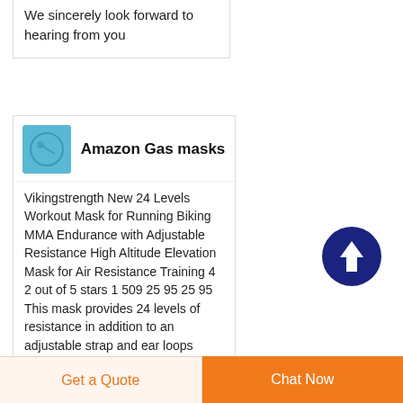We sincerely look forward to hearing from you
[Figure (logo): Blue logo box with light blue background]
Amazon Gas masks
Vikingstrength New 24 Levels Workout Mask for Running Biking MMA Endurance with Adjustable Resistance High Altitude Elevation Mask for Air Resistance Training 4 2 out of 5 stars 1 509 25 95 25 95 This mask provides 24 levels of resistance in addition to an adjustable strap and ear loops
[Figure (other): Dark navy blue circular scroll-to-top button with white upward arrow]
Get a Quote
Chat Now